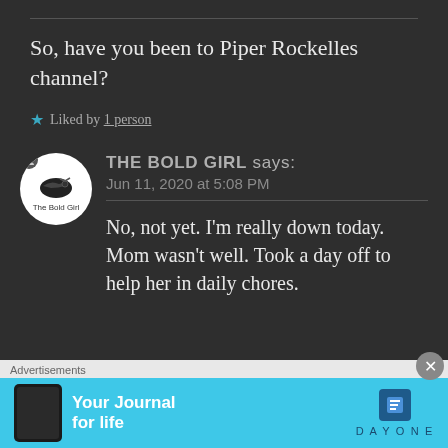So, have you been to Piper Rockelles channel?
★ Liked by 1 person
THE BOLD GIRL says: Jun 11, 2020 at 5:08 PM
No, not yet. I'm really down today. Mom wasn't well. Took a day off to help her in daily chores.
[Figure (logo): The Bold Girl avatar logo — circular white badge with helicopter icon and 'The Bold Girl' text]
Advertisements
[Figure (screenshot): DayOne 'Your Journal for life' advertisement banner with cyan background]